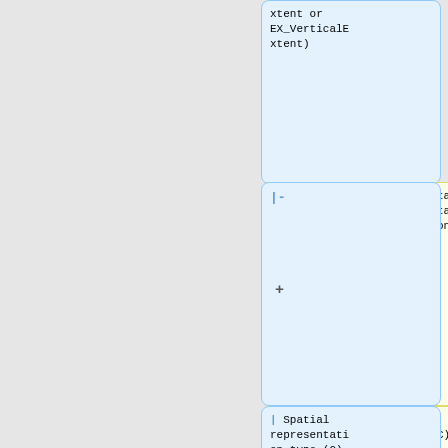[Figure (flowchart): UML-style flowchart diagram showing mapping relationships between metadata elements. Yellow boxes on left show source fields (MD_Metadata.metadataStandardVersion, Metadata language (C), MD_Metadata.language, Metadata character set), blue boxes on right show target fields (EX_VerticalExtent, Spatial representation type (O), MD_Metadata > MD_DataIdentification.spatialRepresentationType). Minus and plus signs connect the boxes.]